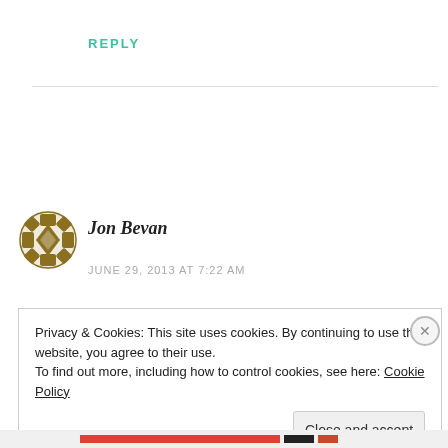REPLY
[Figure (illustration): Gold decorative avatar icon with a geometric diamond/lattice pattern in olive/gold color for user Jon Bevan]
Jon Bevan
JUNE 29, 2013 AT 7:22 AM
Privacy & Cookies: This site uses cookies. By continuing to use this website, you agree to their use.
To find out more, including how to control cookies, see here: Cookie Policy
Close and accept